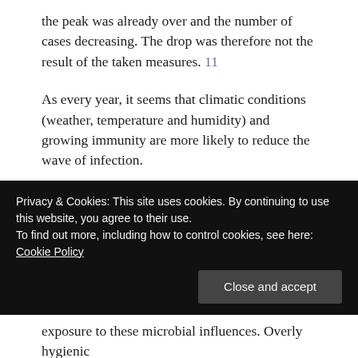the peak was already over and the number of cases decreasing. The drop was therefore not the result of the taken measures. 11
As every year, it seems that climatic conditions (weather, temperature and humidity) and growing immunity are more likely to reduce the wave of infection.
OUR IMMUNE SYSTEM
For thousands of years, the human body has been exposed daily to moisture and droplets containing
Privacy & Cookies: This site uses cookies. By continuing to use this website, you agree to their use. To find out more, including how to control cookies, see here: Cookie Policy
exposure to these microbial influences. Overly hygienic